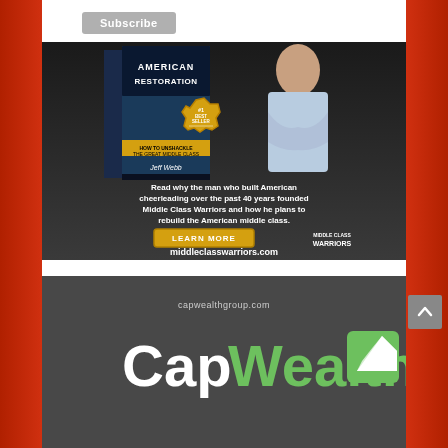[Figure (screenshot): Subscribe button at top of page]
[Figure (photo): Advertisement for American Restoration book by Jeff Webb, showing a man with arms crossed next to a book with #1 Best Seller badge, text reads 'Read why the man who built American cheerleading over the past 40 years founded Middle Class Warriors and how he plans to rebuild the American middle class.' with a LEARN MORE button and middleclasswarriors.com URL and Middle Class Warriors logo]
[Figure (logo): CapWealth advertisement with capwealthgroup.com URL, green and white CapWealth logo with arrow icon on dark grey background]